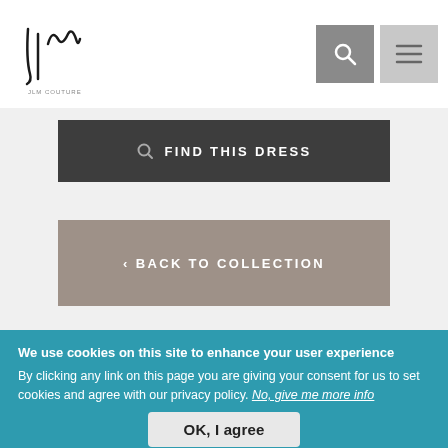JLM Couture logo with search and menu icons
FIND THIS DRESS
< BACK TO COLLECTION
FIND YOUR LA PETITE BY HAYLEY PAIGE DRESS:
We use cookies on this site to enhance your user experience By clicking any link on this page you are giving your consent for us to set cookies and agree with our privacy policy. No, give me more info
OK, I agree